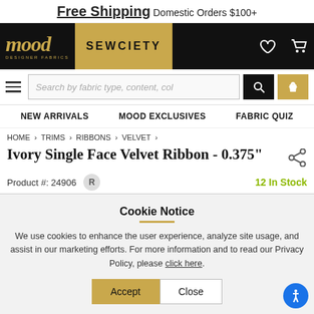Free Shipping Domestic Orders $100+
[Figure (logo): Mood Designer Fabrics logo with 'SEWCIETY' navigation tab, heart icon, and shopping cart icon on black background]
[Figure (screenshot): Search bar with hamburger menu, search input 'Search by fabric type, content, col', search and phone buttons]
NEW ARRIVALS   MOOD EXCLUSIVES   FABRIC QUIZ
HOME > TRIMS > RIBBONS > VELVET >
Ivory Single Face Velvet Ribbon - 0.375"
Product #: 24906   R   12 In Stock
Cookie Notice
We use cookies to enhance the user experience, analyze site usage, and assist in our marketing efforts. For more information and to read our Privacy Policy, please click here.
Accept   Close